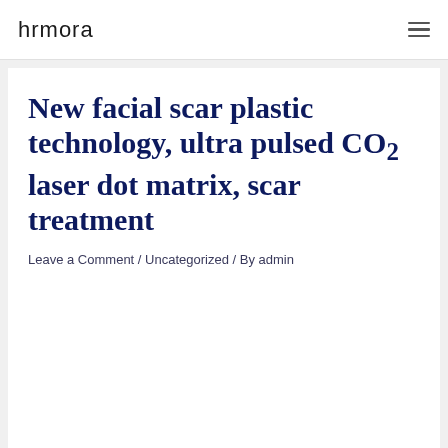hrmora
New facial scar plastic technology, ultra pulsed CO2 laser dot matrix, scar treatment
Leave a Comment / Uncategorized / By admin